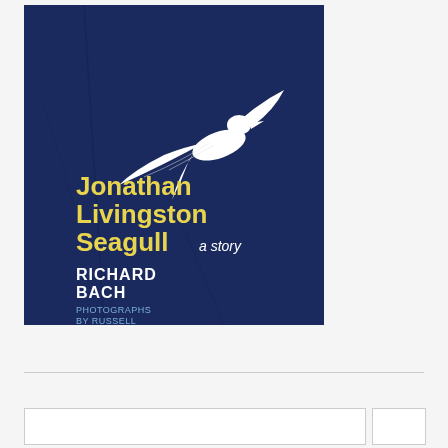[Figure (photo): Book cover of 'Jonathan Livingston Seagull: a story' by Richard Bach, photographs by Russell Munson. Dark navy blue cover with a white seagull silhouette in flight. Title text in yellow/gold bold font, author name in white bold font, photographer credit in light blue.]